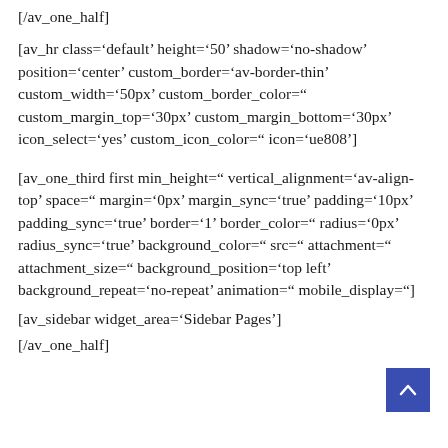[/av_one_half]
[av_hr class='default' height='50' shadow='no-shadow' position='center' custom_border='av-border-thin' custom_width='50px' custom_border_color='' custom_margin_top='30px' custom_margin_bottom='30px' icon_select='yes' custom_icon_color='' icon='ue808']
[av_one_third first min_height='' vertical_alignment='av-align-top' space='' margin='0px' margin_sync='true' padding='10px' padding_sync='true' border='1' border_color='' radius='0px' radius_sync='true' background_color='' src='' attachment='' attachment_size='' background_position='top left' background_repeat='no-repeat' animation='' mobile_display='']
[av_sidebar widget_area='Sidebar Pages']
[/av_one_half]